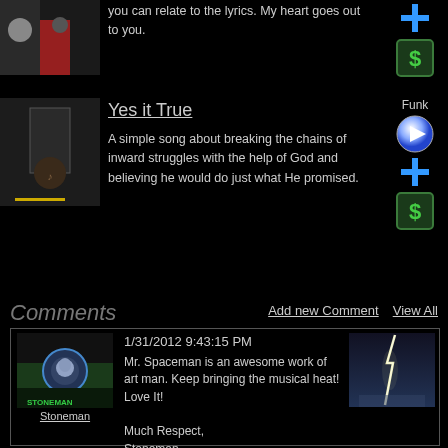you can relate to the lyrics. My heart goes out to you.
Yes it True
A simple song about breaking the chains of inward struggles with the help of God and believing he would do just what He promised.
Funk
Comments
Add new Comment    View All
1/31/2012 9:43:15 PM
Mr. Spaceman is an awesome work of art man. Keep bringing the musical heat! Love It!

Much Respect,
Stoneman
Stoneman
12/5/2010 1:29:07 AM
Thanks for sharing your wonderful music with us brother... I'm a fan of it.
[Figure (screenshot): Stoneman avatar - concert scene with glowing face graphic]
[Figure (photo): Lightning strike photo]
[Figure (screenshot): Indie Music logo]
[Figure (illustration): Pick a Personal Symbol from your Admin Page ad]